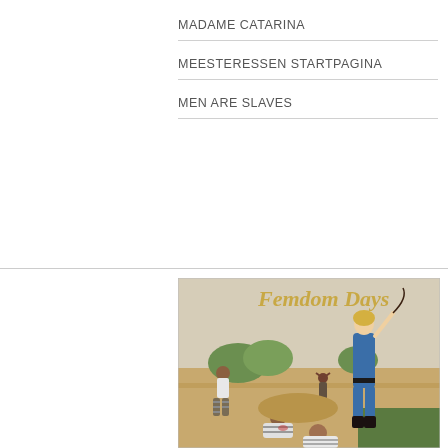MADAME CATARINA
MEESTERESSEN STARTPAGINA
MEN ARE SLAVES
[Figure (illustration): Vintage pulp illustration titled 'Femdom Days' in gold serif text. A blonde woman in a blue outfit holds a whip raised above her head. Below her, men in striped prisoner clothing are working in a field. Background shows a landscape with trees and hills.]